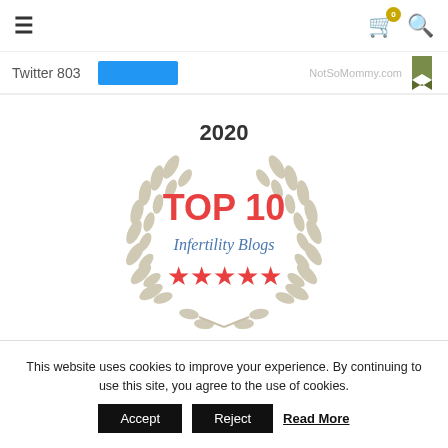☰  🛒 0  🔍
Twitter 803
[Figure (illustration): 2020 TOP 10 Infertility Blogs badge with laurel wreath and five stars]
This website uses cookies to improve your experience. By continuing to use this site, you agree to the use of cookies. Accept  Reject  Read More